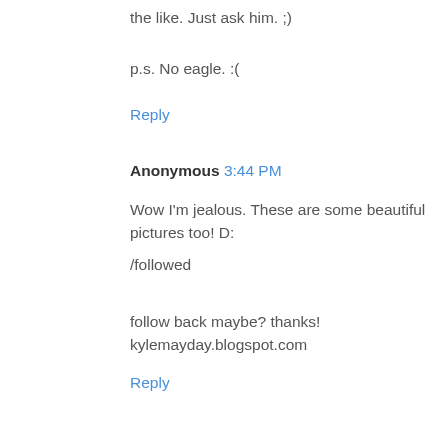the like. Just ask him. ;)
p.s. No eagle. :(
Reply
Anonymous 3:44 PM
Wow I'm jealous. These are some beautiful pictures too! D:
/followed
follow back maybe? thanks!
kylemayday.blogspot.com
Reply
To leave a comment, click the button below to sign in with Google.
SIGN IN WITH GOOGLE